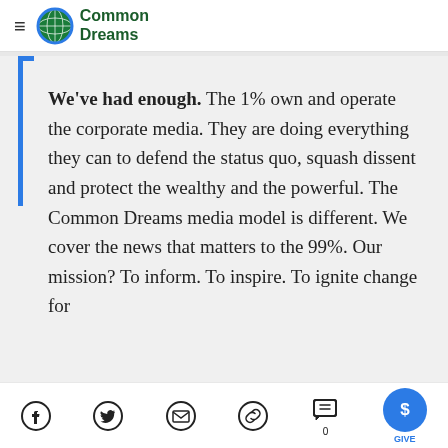[Figure (logo): Common Dreams logo with globe/grid icon and green bold text reading 'Common Dreams']
We've had enough. The 1% own and operate the corporate media. They are doing everything they can to defend the status quo, squash dissent and protect the wealthy and the powerful. The Common Dreams media model is different. We cover the news that matters to the 99%. Our mission? To inform. To inspire. To ignite change for
[Figure (infographic): Footer social icon bar with Facebook, Twitter, email, link, comment (0), and blue GIVE button icons]